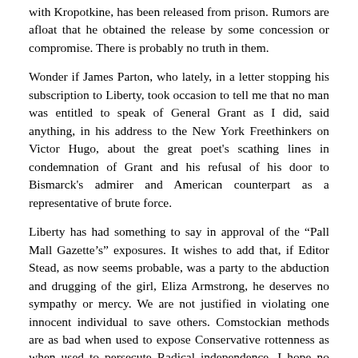with Kropotkine, has been released from prison. Rumors are afloat that he obtained the release by some concession or compromise. There is probably no truth in them.
Wonder if James Parton, who lately, in a letter stopping his subscription to Liberty, took occasion to tell me that no man was entitled to speak of General Grant as I did, said anything, in his address to the New York Freethinkers on Victor Hugo, about the great poet's scathing lines in condemnation of Grant and his refusal of his door to Bismarck's admirer and American counterpart as a representative of brute force.
Liberty has had something to say in approval of the “Pall Mall Gazette’s” exposures. It wishes to add that, if Editor Stead, as now seems probable, was a party to the abduction and drugging of the girl, Eliza Armstrong, he deserves no sympathy or mercy. We are not justified in violating one innocent individual to save others. Comstockian methods are as bad when used to expose Conservative rottenness as when used to persecute Radical independence. I hope no Liberal journal which has denounced the wiles of Comstock will praise those of Stead, thus following the example of inconsistency already set by certain Conservative journals which are as loud in denunciation of Stead as they have ever been in support of Comstock.